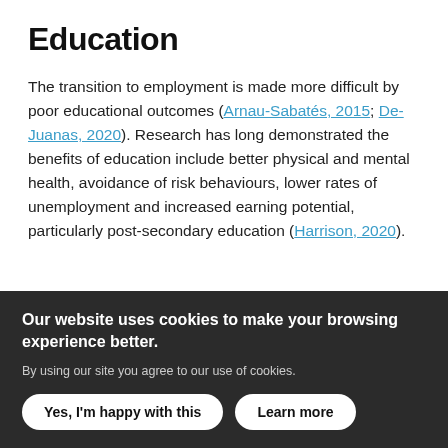Education
The transition to employment is made more difficult by poor educational outcomes (Arnau-Sabatés, 2015; De-Juanas, 2020). Research has long demonstrated the benefits of education include better physical and mental health, avoidance of risk behaviours, lower rates of unemployment and increased earning potential, particularly post-secondary education (Harrison, 2020).
Our website uses cookies to make your browsing experience better.
By using our site you agree to our use of cookies.
Yes, I'm happy with this    Learn more